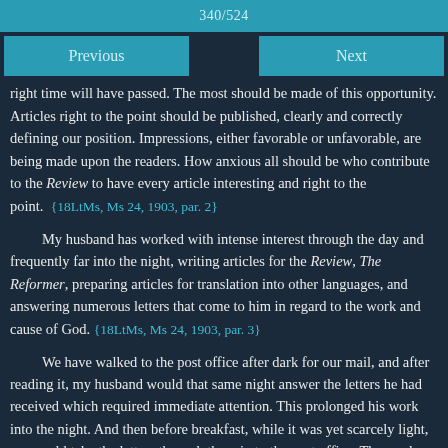340/524
Previous
Next
right time will have passed. The most should be made of this opportunity. Articles right to the point should be published, clearly and correctly defining our position. Impressions, either favorable or unfavorable, are being made upon the readers. How anxious all should be who contribute to the Review to have every article interesting and right to the point. {18LtMs, Ms 24, 1903, par. 2}
My husband has worked with intense interest through the day and frequently far into the night, writing articles for the Review, The Reformer, preparing articles for translation into other languages, and answering numerous letters that come to him in regard to the work and cause of God. {18LtMs, Ms 24, 1903, par. 3}
We have walked to the post office after dark for our mail, and after reading it, my husband would that same night answer the letters he had received which required immediate attention. This prolonged his work into the night. And then before breakfast, while it was yet scarcely light, we would take the letters through the rain to the post office. The weeks seemed